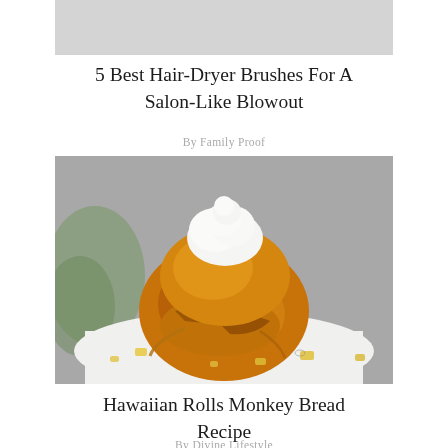[Figure (photo): Gray placeholder image for hair-dryer brush article thumbnail]
5 Best Hair-Dryer Brushes For A Salon-Like Blowout
By Family Proof
[Figure (photo): Photo of Hawaiian Rolls Monkey Bread on a white plate, topped with whipped cream, with pieces of pineapple scattered around]
Hawaiian Rolls Monkey Bread Recipe
By Divine Lifestyle